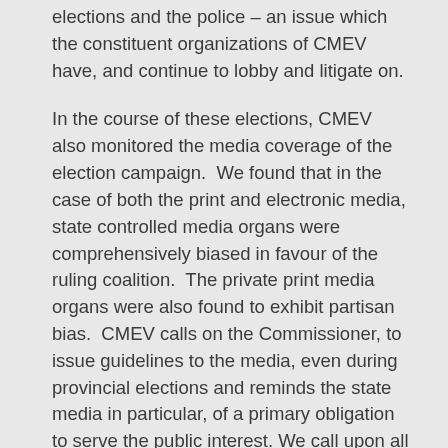elections and the police – an issue which the constituent organizations of CMEV have, and continue to lobby and litigate on.
In the course of these elections, CMEV also monitored the media coverage of the election campaign. We found that in the case of both the print and electronic media, state controlled media organs were comprehensively biased in favour of the ruling coalition. The private print media organs were also found to exhibit partisan bias. CMEV calls on the Commissioner, to issue guidelines to the media, even during provincial elections and reminds the state media in particular, of a primary obligation to serve the public interest. We call upon all media organs to observe internationally recognized guidelines for reporting during elections.
An illustrative sample of the incidents of violence and malpractice reported by CMEV monitors is provided